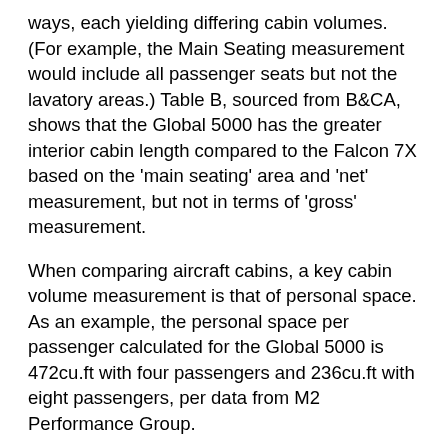ways, each yielding differing cabin volumes. (For example, the Main Seating measurement would include all passenger seats but not the lavatory areas.) Table B, sourced from B&CA, shows that the Global 5000 has the greater interior cabin length compared to the Falcon 7X based on the 'main seating' area and 'net' measurement, but not in terms of 'gross' measurement.
When comparing aircraft cabins, a key cabin volume measurement is that of personal space. As an example, the personal space per passenger calculated for the Global 5000 is 472cu.ft with four passengers and 236cu.ft with eight passengers, per data from M2 Performance Group.
Prospective buyers are advised to measure the aircraft themselves or consult with interior experts to provide fair comparisons. Due diligence from a prospective owner/operator is required to understand comparative aircraft interior